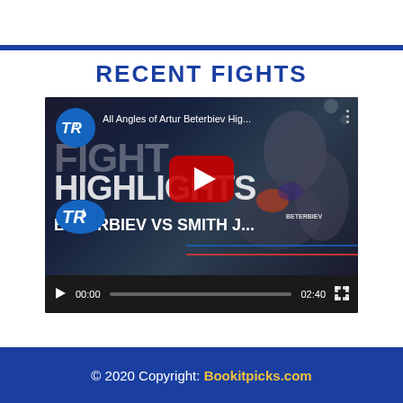RECENT FIGHTS
[Figure (screenshot): YouTube video player showing 'All Angles of Artur Beterbiev Hig...' fight highlights video. TR (Top Rank) logo visible top left. Video shows boxing fight between Beterbiev vs Smith Jr. Large YouTube play button in center. Video controls show 00:00 start and 02:40 duration. Bottom black control bar with play button, progress bar, and fullscreen button.]
© 2020 Copyright: Bookitpicks.com